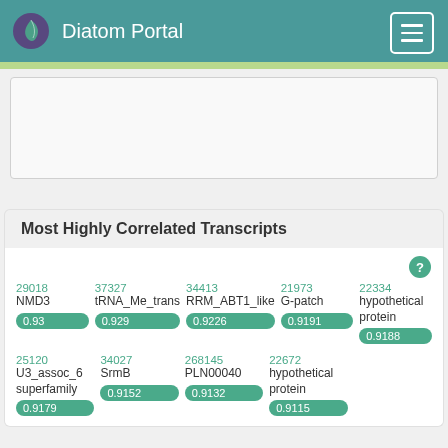Diatom Portal
Most Highly Correlated Transcripts
| ID | Name | Score |
| --- | --- | --- |
| 29018 | NMD3 | 0.93 |
| 37327 | tRNA_Me_trans | 0.929 |
| 34413 | RRM_ABT1_like | 0.9226 |
| 21973 | G-patch | 0.9191 |
| 22334 | hypothetical protein | 0.9188 |
| 25120 | U3_assoc_6 superfamily | 0.9179 |
| 34027 | SrmB | 0.9152 |
| 268145 | PLN00040 | 0.9132 |
| 22672 | hypothetical protein | 0.9115 |